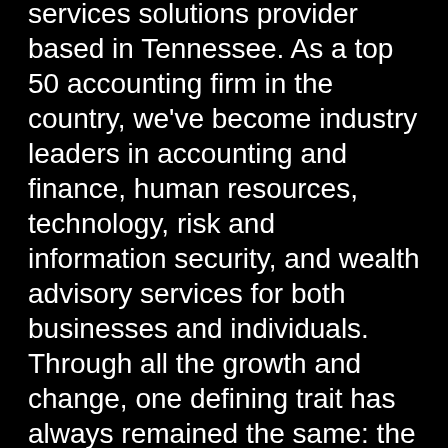services solutions provider based in Tennessee. As a top 50 accounting firm in the country, we've become industry leaders in accounting and finance, human resources, technology, risk and information security, and wealth advisory services for both businesses and individuals. Through all the growth and change, one defining trait has always remained the same: the genuine southern hospitality we bring to every client.
Truthfully, we can't imagine doing business any other way. Our belief in delivering dedicated personal attention to every client allows us to